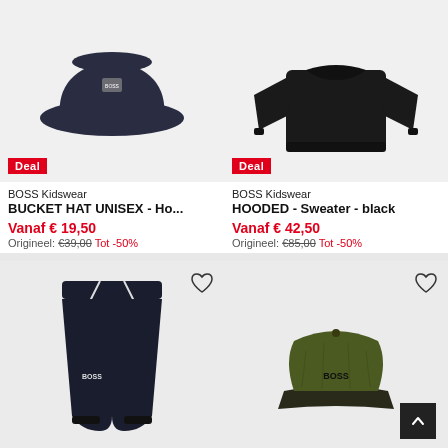[Figure (photo): BOSS Kidswear navy bucket hat on light grey background with Deal badge]
[Figure (photo): BOSS Kidswear black hooded sweater on light grey background with Deal badge]
BOSS Kidswear
BUCKET HAT UNISEX - Ho...
Vanaf € 19,50
Origineel: €39,00 Tot -50%
BOSS Kidswear
HOODED - Sweater - black
Vanaf € 42,50
Origineel: €85,00 Tot -50%
[Figure (photo): BOSS Kidswear navy jogger pants on light grey background with heart icon]
[Figure (photo): BOSS Kidswear olive/black trucker cap on light grey background with heart icon and back-to-top button]